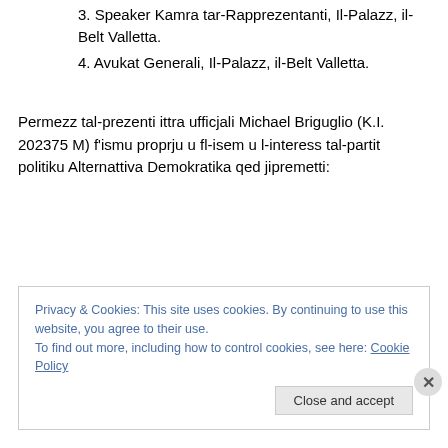3. Speaker Kamra tar-Rapprezentanti, Il-Palazz, il-Belt Valletta.
4. Avukat Generali, Il-Palazz, il-Belt Valletta.
Permezz tal-prezenti ittra ufficjali Michael Briguglio (K.I. 202375 M) f'ismu proprju u fl-isem u l-interess tal-partit politiku Alternattiva Demokratika qed jipremetti:
Privacy & Cookies: This site uses cookies. By continuing to use this website, you agree to their use.
To find out more, including how to control cookies, see here: Cookie Policy
[Close and accept button]